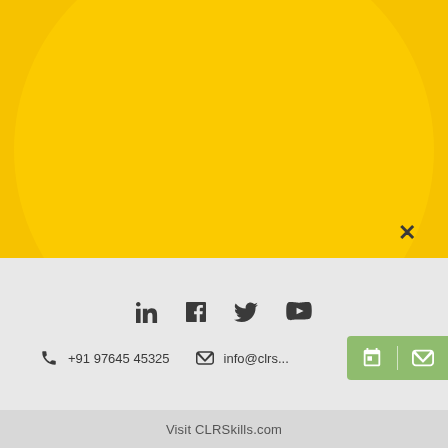[Figure (illustration): Yellow background section with large semi-transparent yellow circle and a close (X) button in the lower right]
[Figure (infographic): Social media icons: LinkedIn, Facebook, Twitter, YouTube]
+91 97645 45325   info@clrs...
[Figure (infographic): Green bar overlay with calendar and email icons]
Visit CLRSkills.com